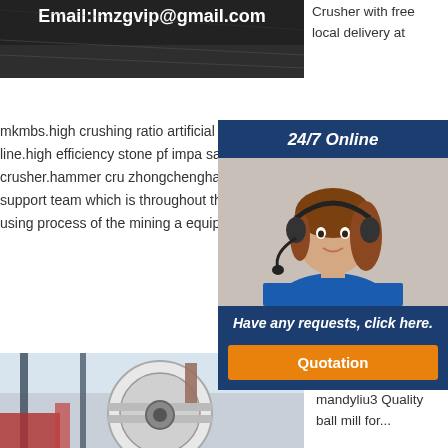[Figure (photo): Dark banner with email text: Email:lmzgvip@gmail.com]
Crusher with free local delivery at
mkmbs.high crushing ratio artificial cone crusher limestone,mineral processing epc service gzs ser road production line.high efficiency stone pf impa sale for mobile impact stone crusher 2013 new ty in india hazemag cone stone crusher.hammer cru zhongchenghammer crusher zinc advocaat ,ham zhongchenghammer crusher zinc about us CBcru support team which is throughout the world and h professional knowledge level will help you to solv that you meet in the using process of the mining a equipments.
[Figure (photo): 24/7 Online widget with woman in headset, 'Have any requests, click here.' and Quotation button]
[Figure (photo): Industrial machinery / ball mill equipment photo]
Quality ball mill, box crusher for sale mandyliu3 Quality ball mill for...